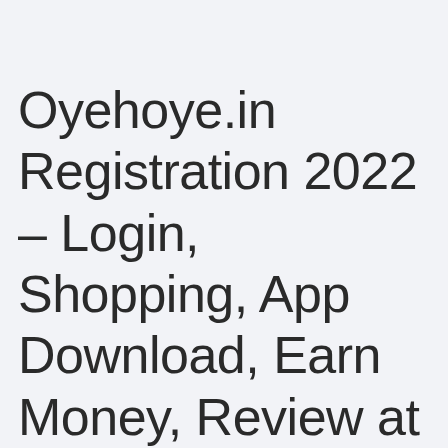Oyehoye.in Registration 2022 – Login, Shopping, App Download, Earn Money, Review at